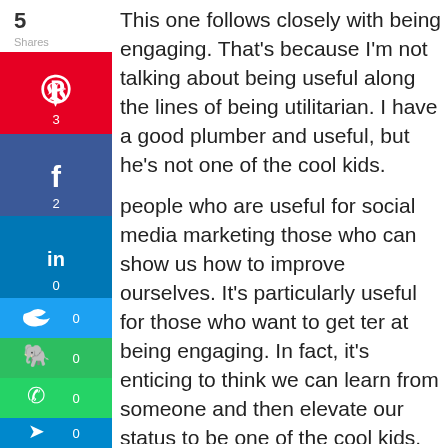[Figure (infographic): Social share sidebar with Pinterest (3), Facebook (2), LinkedIn (0), Twitter (0), Evernote (0), WhatsApp (0), Telegram (0), and heart/like (0) buttons showing share counts]
5 Shares
This one follows closely with being engaging. That's because I'm not talking about being useful along the lines of being utilitarian. I have a good plumber and useful, but he's not one of the cool kids.
people who are useful for social media marketing those who can show us how to improve ourselves. It's particularly useful for those who want to get ter at being engaging. In fact, it's enticing to think we can learn from someone and then elevate our status to be one of the cool kids.
we revere those who can show us something useful can make us more popular.